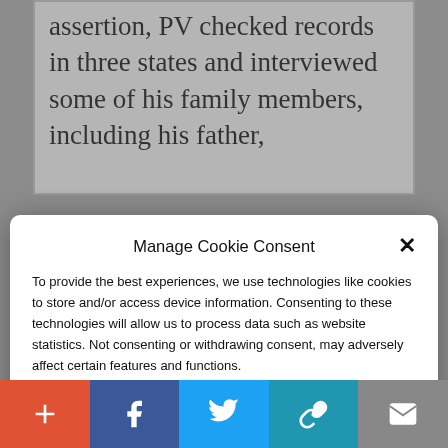assertion, PV checked records in three states and interviewed some of his family members, including his father,
Manage Cookie Consent
To provide the best experiences, we use technologies like cookies to store and/or access device information. Consenting to these technologies will allow us to process data such as website statistics. Not consenting or withdrawing consent, may adversely affect certain features and functions.
Accept
Cookie Policy   Privacy Policy
nowhere: he “used to be an Antifa punk